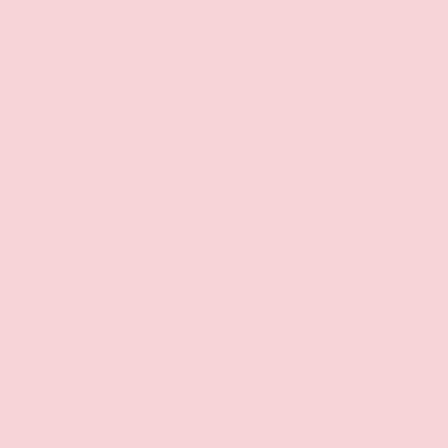stages allows omnidirection real world to be accurately extended with multispectral accurately mimic the color m and mixed lighting environm body light stage in conjuncti automultiscopic video proje conversations with survivors
Paul Debevec is a Senior S GoogleVR's Daydream tear Computer Science in the Vi of Southern California, work at the USC Institute for Crea graphics research has been Significant New Researche Work in the Field of Image- and Engineering Academy A of the Light Stage capture d system developed for chara Hawkins, John Monos, and in 2017 in recognition of his pioneering techniques for ill on measurement of real-wo application in numerous Ho